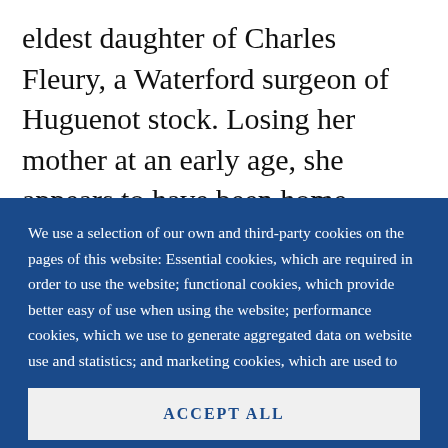eldest daughter of Charles Fleury, a Waterford surgeon of Huguenot stock. Losing her mother at an early age, she appears to have been home-
We use a selection of our own and third-party cookies on the pages of this website: Essential cookies, which are required in order to use the website; functional cookies, which provide better easy of use when using the website; performance cookies, which we use to generate aggregated data on website use and statistics; and marketing cookies, which are used to display relevant content and advertising. If you choose "ACCEPT ALL", you consent to the use of all cookies. You can accept and
ACCEPT ALL